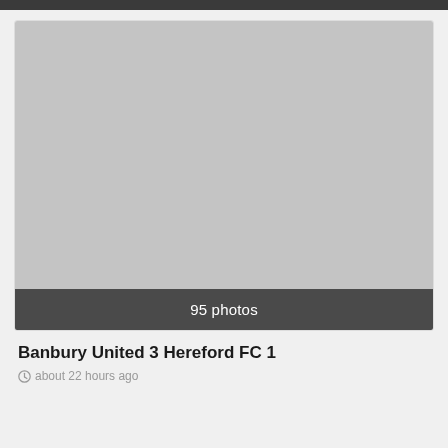[Figure (photo): A gray placeholder image representing a photo gallery thumbnail, with a dark bar at the bottom showing '95 photos']
Banbury United 3 Hereford FC 1
about 22 hours ago